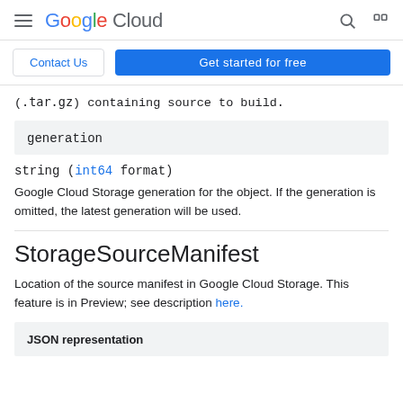Google Cloud
Contact Us | Get started for free
(.tar.gz) containing source to build.
generation
string (int64 format)
Google Cloud Storage generation for the object. If the generation is omitted, the latest generation will be used.
StorageSourceManifest
Location of the source manifest in Google Cloud Storage. This feature is in Preview; see description here.
JSON representation